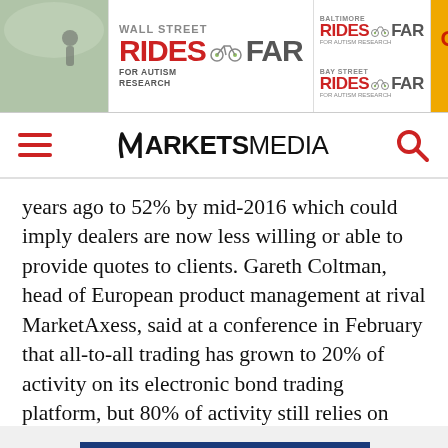[Figure (illustration): Banner advertisement for Wall Street Rides Far for Autism Research, Baltimore Rides Far, Bay Street Rides Far events, with October date shown on yellow background]
MarketsMedia navigation bar with hamburger menu and search icon
years ago to 52% by mid-2016 which could imply dealers are now less willing or able to provide quotes to clients. Gareth Coltman, head of European product management at rival MarketAxess, said at a conference in February that all-to-all trading has grown to 20% of activity on its electronic bond trading platform, but 80% of activity still relies on dealers.